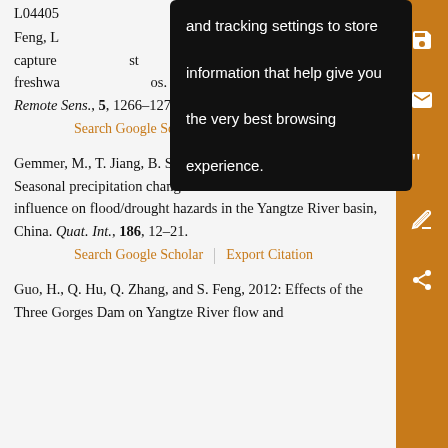L04405... and tracking settings to store information that help give you the very best browsing experience. (tooltip overlay)
Feng, L... capture ... st freshwa ... os. Remote Sens., 5, 1266–1271.
Search Google Scholar | Export Citation
Gemmer, M., T. Jiang, B. Su, and Z. W. Kundzewicz, 2008: Seasonal precipitation changes in the wet season and their influence on flood/drought hazards in the Yangtze River basin, China. Quat. Int., 186, 12–21.
Search Google Scholar | Export Citation
Guo, H., Q. Hu, Q. Zhang, and S. Feng, 2012: Effects of the Three Gorges Dam on Yangtze River flow and